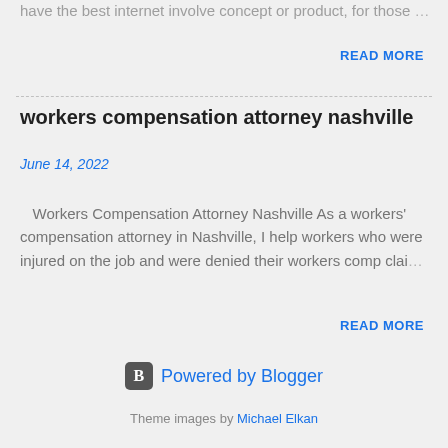have the best internet involve concept or product, for those …
READ MORE
workers compensation attorney nashville
June 14, 2022
Workers Compensation Attorney Nashville As a workers' compensation attorney in Nashville, I help workers who were injured on the job and were denied their workers comp clai …
READ MORE
Powered by Blogger
Theme images by Michael Elkan